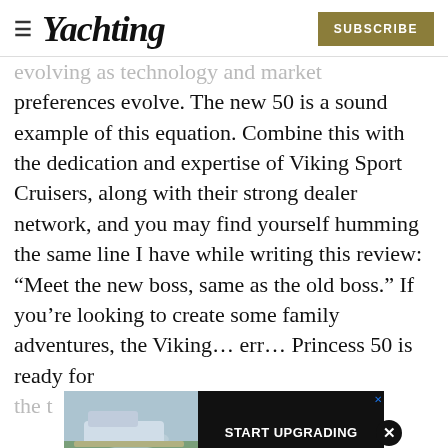Yachting | SUBSCRIBE
evolving as technology and market preferences evolve. The new 50 is a sound example of this equation. Combine this with the dedication and expertise of Viking Sport Cruisers, along with their strong dealer network, and you may find yourself humming the same line I have while writing this review: “Meet the new boss, same as the old boss.” If you’re looking to create some family adventures, the Viking… err… Princess 50 is ready for the t
[Figure (other): Advertisement banner with a boat image on the left and 'START UPGRADING' text on black background on the right, with an X close button]